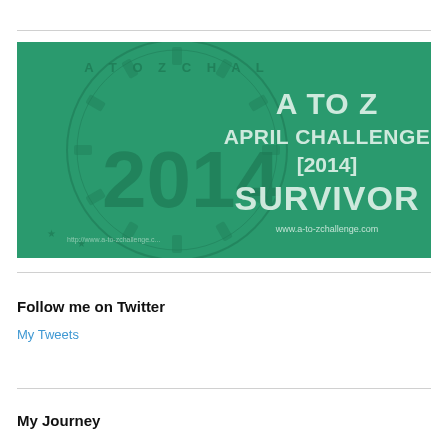[Figure (illustration): A To Z April Challenge 2014 Survivor badge/banner. Green background with circular stamp design showing '2014' and text 'A TO Z APRIL CHALLENGE [2014] SURVIVOR' with website www.a-to-zchallenge.com]
Follow me on Twitter
My Tweets
My Journey